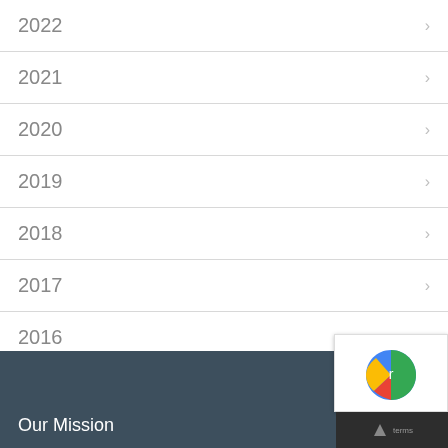2022
2021
2020
2019
2018
2017
2016
Our Mission